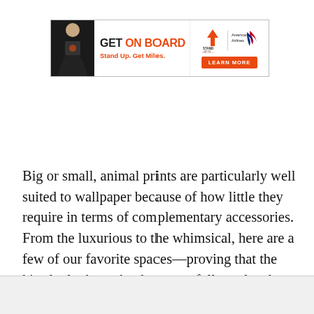[Figure (infographic): Advertisement banner: 'GET ON BOARD — Stand Up. Get Miles.' featuring a woman, Stand Up To Cancer logo, American Airlines logo, and a red 'LEARN MORE' button.]
Big or small, animal prints are particularly well suited to wallpaper because of how little they require in terms of complementary accessories. From the luxurious to the whimsical, here are a few of our favorite spaces—proving that the kitschy look can be done tastefully—plus the best